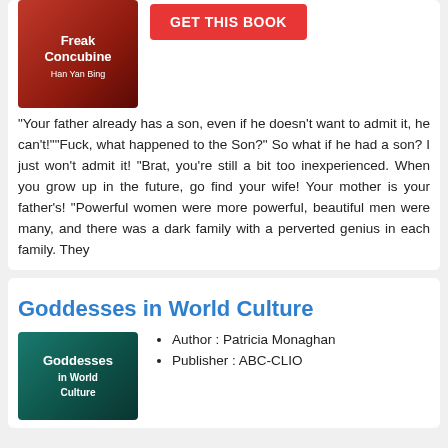[Figure (photo): Book cover for 'Freak Concubine' by Han Yan Bing with red background]
GET THIS BOOK
"Your father already has a son, even if he doesn't want to admit it, he can't!""Fuck, what happened to the Son?" So what if he had a son? I just won't admit it! "Brat, you're still a bit too inexperienced. When you grow up in the future, go find your wife! Your mother is your father's! "Powerful women were more powerful, beautiful men were many, and there was a dark family with a perverted genius in each family. They
Goddesses in World Culture
[Figure (photo): Book cover for 'Goddesses in World Culture' with blue/teal background]
Author : Patricia Monaghan
Publisher : ABC-CLIO